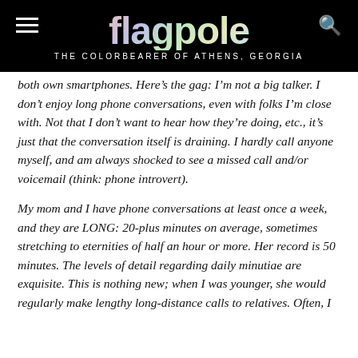[Figure (logo): Flagpole magazine header with holographic/iridescent logo text on black background, hamburger menu icon on left, search icon on right, tagline 'THE COLORBEARER OF ATHENS, GEORGIA']
both own smartphones. Here’s the gag: I’m not a big talker. I don’t enjoy long phone conversations, even with folks I’m close with. Not that I don’t want to hear how they’re doing, etc., it’s just that the conversation itself is draining. I hardly call anyone myself, and am always shocked to see a missed call and/or voicemail (think: phone introvert).
My mom and I have phone conversations at least once a week, and they are LONG: 20-plus minutes on average, sometimes stretching to eternities of half an hour or more. Her record is 50 minutes. The levels of detail regarding daily minutiae are exquisite. This is nothing new; when I was younger, she would regularly make lengthy long-distance calls to relatives. Often, I